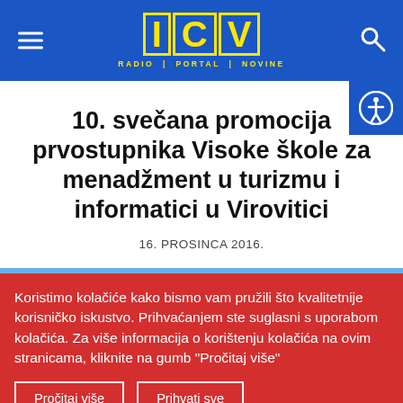ICV RADIO | PORTAL | NOVINE
10. svečana promocija prvostupnika Visoke škole za menadžment u turizmu i informatici u Virovitici
16. PROSINCA 2016.
Koristimo kolačiće kako bismo vam pružili što kvalitetnije korisničko iskustvo. Prihvaćanjem ste suglasni s uporabom kolačića. Za više informacija o korištenju kolačića na ovim stranicama, kliknite na gumb "Pročitaj više"
Pročitaj više
Prihvati sve